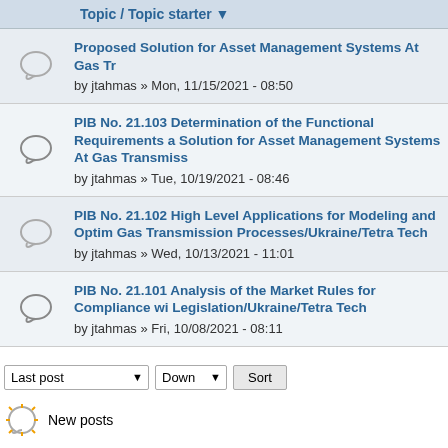| Topic / Topic starter |
| --- |
| Proposed Solution for Asset Management Systems At Gas Tr
by jtahmas » Mon, 11/15/2021 - 08:50 |
| PIB No. 21.103 Determination of the Functional Requirements a Solution for Asset Management Systems At Gas Transmiss
by jtahmas » Tue, 10/19/2021 - 08:46 |
| PIB No. 21.102 High Level Applications for Modeling and Optim Gas Transmission Processes/Ukraine/Tetra Tech
by jtahmas » Wed, 10/13/2021 - 11:01 |
| PIB No. 21.101 Analysis of the Market Rules for Compliance wi Legislation/Ukraine/Tetra Tech
by jtahmas » Fri, 10/08/2021 - 08:11 |
Last post  Down  Sort
New posts
No new posts